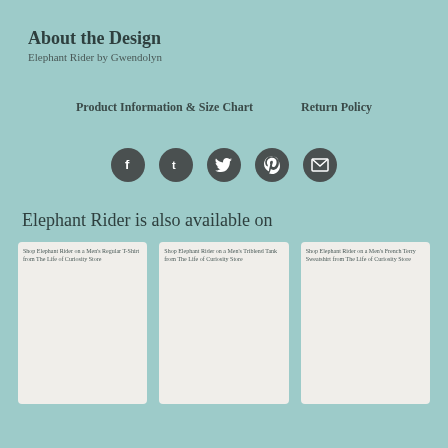About the Design
Elephant Rider by Gwendolyn
Product Information & Size Chart    Return Policy
[Figure (infographic): Five social media icon circles: Facebook, Tumblr, Twitter, Pinterest, Email]
Elephant Rider is also available on
[Figure (screenshot): Shop Elephant Rider on a Men's Regular T-Shirt from The Life of Curiosity Store]
[Figure (screenshot): Shop Elephant Rider on a Men's Triblend Tank from The Life of Curiosity Store]
[Figure (screenshot): Shop Elephant Rider on a Men's French Terry Sweatshirt from The Life of Curiosity Store]